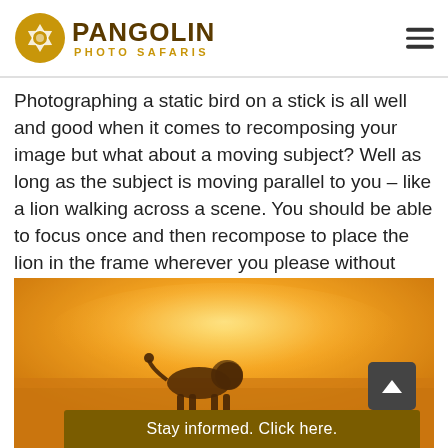[Figure (logo): Pangolin Photo Safaris logo with camera aperture icon and text]
Photographing a static bird on a stick is all well and good when it comes to recomposing your image but what about a moving subject? Well as long as the subject is moving parallel to you – like a lion walking across a scene. You should be able to focus once and then recompose to place the lion in the frame wherever you please without having to refocus.
[Figure (photo): Silhouette of a lion walking in golden hazy light at sunrise or sunset on the African savanna]